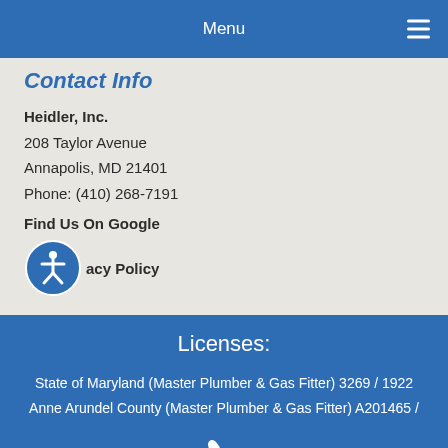Menu
Contact Info
Heidler, Inc.
208 Taylor Avenue
Annapolis, MD 21401
Phone: (410) 268-7191
Find Us On Google
Privacy Policy
[Figure (illustration): Circular accessibility icon with person figure in white on blue background]
Licenses:
State of Maryland (Master Plumber & Gas Fitter) 3269 / 1922
Anne Arundel County (Master Plumber & Gas Fitter) A201465 /
[Figure (illustration): Phone handset icon in white]